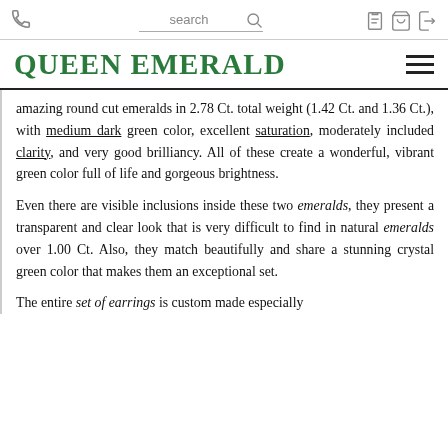search (with phone, search, wishlist, bag, login icons)
QUEEN EMERALD
amazing round cut emeralds in 2.78 Ct. total weight (1.42 Ct. and 1.36 Ct.), with medium dark green color, excellent saturation, moderately included clarity, and very good brilliancy. All of these create a wonderful, vibrant green color full of life and gorgeous brightness.
Even there are visible inclusions inside these two emeralds, they present a transparent and clear look that is very difficult to find in natural emeralds over 1.00 Ct. Also, they match beautifully and share a stunning crystal green color that makes them an exceptional set.
The entire set of earrings is custom made especially for the...